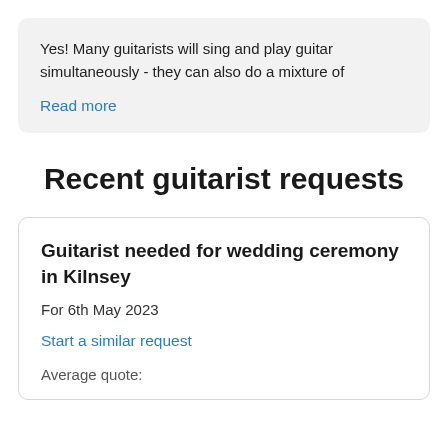Yes! Many guitarists will sing and play guitar simultaneously - they can also do a mixture of
Read more
Recent guitarist requests
Guitarist needed for wedding ceremony in Kilnsey
For 6th May 2023
Start a similar request
Average quote: